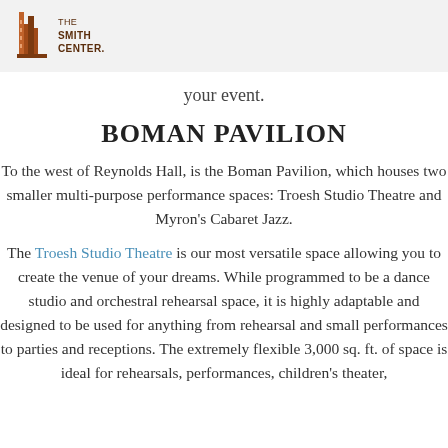THE SMITH CENTER
your event.
BOMAN PAVILION
To the west of Reynolds Hall, is the Boman Pavilion, which houses two smaller multi-purpose performance spaces: Troesh Studio Theatre and Myron’s Cabaret Jazz.
The Troesh Studio Theatre is our most versatile space allowing you to create the venue of your dreams. While programmed to be a dance studio and orchestral rehearsal space, it is highly adaptable and designed to be used for anything from rehearsal and small performances to parties and receptions. The extremely flexible 3,000 sq. ft. of space is ideal for rehearsals, performances, children’s theater,